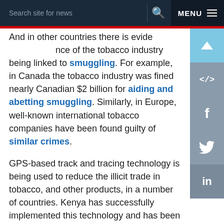Search site for news   Q   MENU
And in other countries there is evidence of the tobacco industry being linked to smuggling. For example, in Canada the tobacco industry was fined nearly Canadian $2 billion for aiding and abetting smuggling. Similarly, in Europe, well-known international tobacco companies have been found guilty of similar crimes.
GPS-based track and tracing technology is being used to reduce the illicit trade in tobacco, and other products, in a number of countries. Kenya has successfully implemented this technology and has been able to substantially reduce illicit trade and increase its revenues as a result. Canada and the UK, despite having some of the highest excise taxes in the world, have been able to substantially reduce illicit trade in the past two decades.